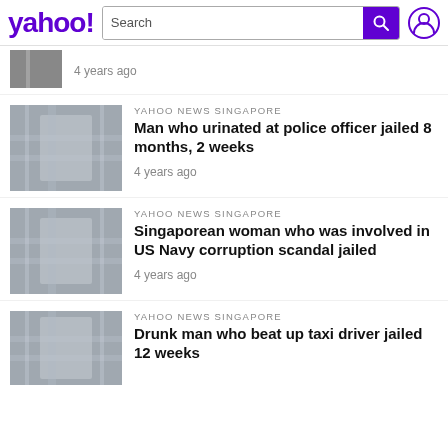yahoo! Search
4 years ago
YAHOO NEWS SINGAPORE
Man who urinated at police officer jailed 8 months, 2 weeks
4 years ago
YAHOO NEWS SINGAPORE
Singaporean woman who was involved in US Navy corruption scandal jailed
4 years ago
YAHOO NEWS SINGAPORE
Drunk man who beat up taxi driver jailed 12 weeks